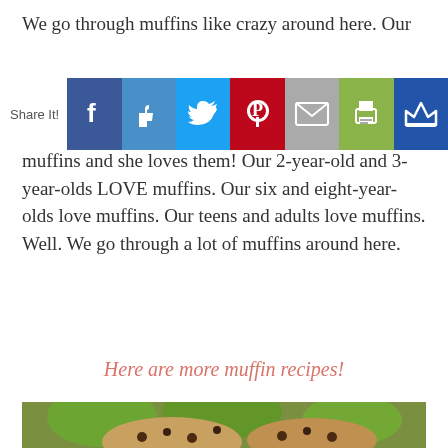We go through muffins like crazy around here. Our
[Figure (screenshot): Social media share bar with Share It! label and buttons: Facebook, Like (thumbs up), Twitter, Pinterest, Email, Print, Crown]
muffins and she loves them! Our 2-year-old and 3-year-olds LOVE muffins. Our six and eight-year-olds love muffins. Our teens and adults love muffins. Well. We go through a lot of muffins around here.
Here are more muffin recipes!
[Figure (photo): Photo of chocolate chip muffins with green apples in the background, and a muffin with white frosting on a plate]